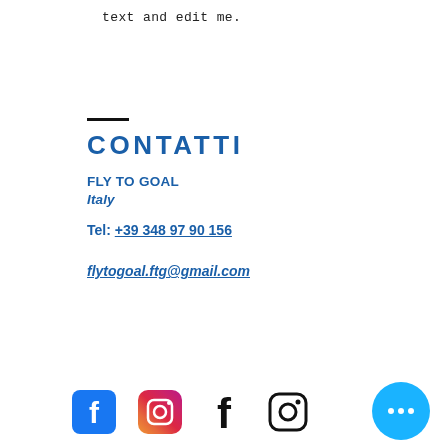text and edit me.
CONTATTI
FLY TO GOAL
Italy
Tel: +39 348 97 90 156
flytogoal.ftg@gmail.com
[Figure (infographic): Social media icons: Facebook (blue rounded square), Instagram (pink/gradient), Facebook (outline), Instagram (outline), and a cyan floating action button with three dots]